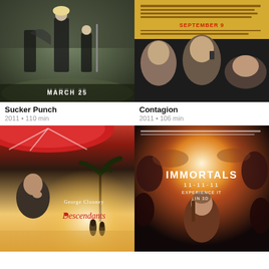[Figure (photo): Movie poster for Sucker Punch (2011) showing fantasy warrior women, text MARCH 25]
Sucker Punch
2011 • 110 min
[Figure (photo): Movie poster for Contagion (2011) showing faces of actors, yellow text SEPTEMBER 9]
Contagion
2011 • 106 min
[Figure (photo): Movie poster for The Descendants (2011) showing George Clooney, red script title Descendants]
[Figure (photo): Movie poster for Immortals (2011) showing warrior with text IMMORTALS 11-11-11 EXPERIENCE IT IN 3D]